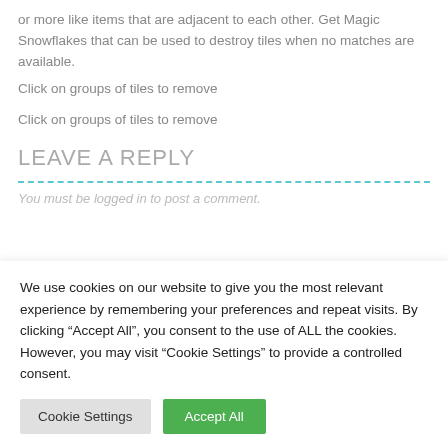or more like items that are adjacent to each other. Get Magic Snowflakes that can be used to destroy tiles when no matches are available.
Click on groups of tiles to remove
Click on groups of tiles to remove
LEAVE A REPLY
You must be logged in to post a comment.
We use cookies on our website to give you the most relevant experience by remembering your preferences and repeat visits. By clicking “Accept All”, you consent to the use of ALL the cookies. However, you may visit "Cookie Settings" to provide a controlled consent.
Cookie Settings
Accept All